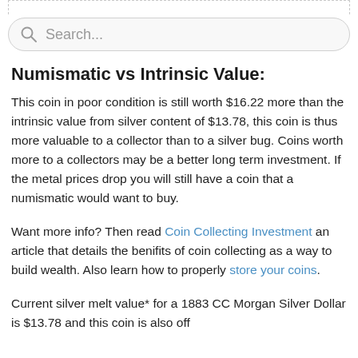[Figure (screenshot): Search bar with rounded rectangle border, search icon and placeholder text 'Search...']
Numismatic vs Intrinsic Value:
This coin in poor condition is still worth $16.22 more than the intrinsic value from silver content of $13.78, this coin is thus more valuable to a collector than to a silver bug. Coins worth more to a collectors may be a better long term investment. If the metal prices drop you will still have a coin that a numismatic would want to buy.
Want more info? Then read Coin Collecting Investment an article that details the benifits of coin collecting as a way to build wealth. Also learn how to properly store your coins.
Current silver melt value* for a 1883 CC Morgan Silver Dollar is $13.78 and this coin is also off...